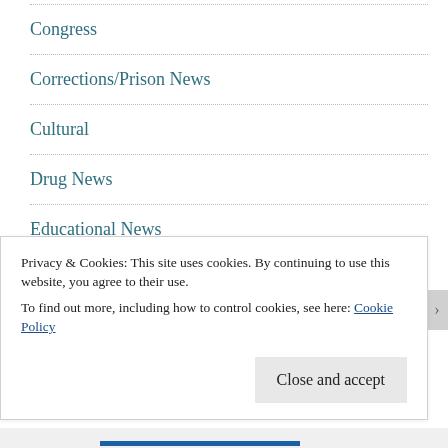Congress
Corrections/Prison News
Cultural
Drug News
Educational News
Environmental News
Europe
Film & Event News
Privacy & Cookies: This site uses cookies. By continuing to use this website, you agree to their use.
To find out more, including how to control cookies, see here: Cookie Policy